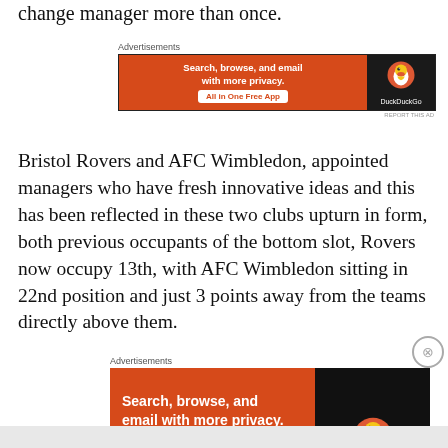change manager more than once.
[Figure (screenshot): DuckDuckGo advertisement banner: 'Search, browse, and email with more privacy. All in One Free App' with DuckDuckGo logo on dark background]
Bristol Rovers and AFC Wimbledon, appointed managers who have fresh innovative ideas and this has been reflected in these two clubs upturn in form, both previous occupants of the bottom slot, Rovers now occupy 13th, with AFC Wimbledon sitting in 22nd position and just 3 points away from the teams directly above them.
[Figure (screenshot): DuckDuckGo advertisement banner (larger): 'Search, browse, and email with more privacy. All in One Free App' with DuckDuckGo logo and phone mockup on dark background]